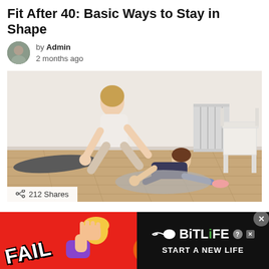Fit After 40: Basic Ways to Stay in Shape
by Admin
2 months ago
[Figure (photo): A woman and child doing yoga/stretching exercises on the floor of a bright room with wood floors, a gray mat, a radiator, and a white chair in the background.]
212 Shares
[Figure (other): Advertisement banner for BitLife game with red background, 'FAIL' text, emoji of person facepalming, fire emoji, and BitLife logo with 'START A NEW LIFE' tagline on black background.]